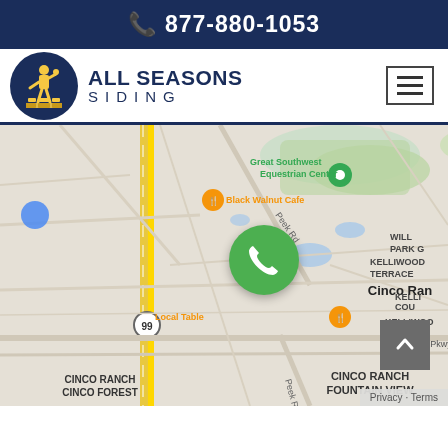877-880-1053
[Figure (logo): All Seasons Siding company logo with circular dark blue icon showing a worker figure, and text ALL SEASONS SIDING]
[Figure (map): Google Maps screenshot showing Cinco Ranch area near Houston, TX with Black Walnut Cafe, Local Table, Great Southwest Equestrian Center pins, Kroger, Westheimer Pkwy, Peek Rd, and neighborhoods including Cinco Ranch Fountain View, Cinco Ranch Cinco Forest, Kelliwood Terrace, Kelliwood Links, Willow Fork. A green phone button overlay and back-to-top button are visible.]
Privacy · Terms